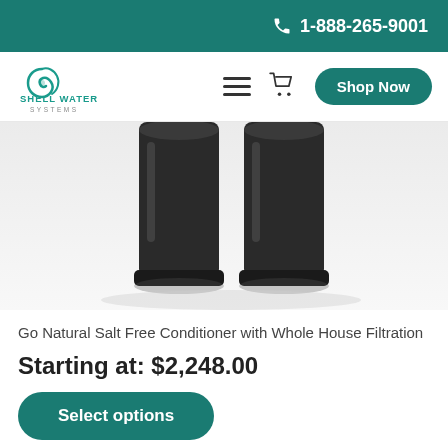📞 1-888-265-9001
[Figure (logo): Shell Water Systems logo with nautilus shell icon and text SHELL WATER SYSTEMS]
[Figure (photo): Two black cylindrical water filtration/conditioner units shown from above on a light reflective surface]
Go Natural Salt Free Conditioner with Whole House Filtration
Starting at: $2,248.00
Select options